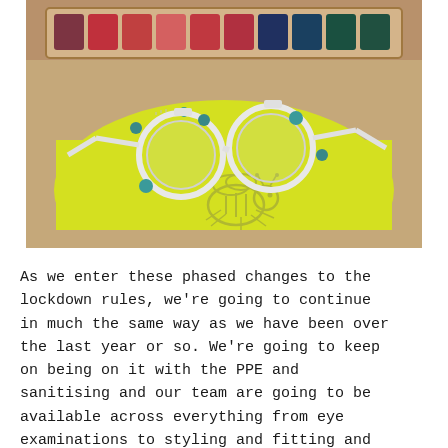[Figure (photo): A trial frame (optometry lens frame) placed on a yellow cloth with a printed bee logo, set on a wooden surface with a tray of lenses in the background.]
As we enter these phased changes to the lockdown rules, we're going to continue in much the same way as we have been over the last year or so. We're going to keep on being on it with the PPE and sanitising and our team are going to be available across everything from eye examinations to styling and fitting and